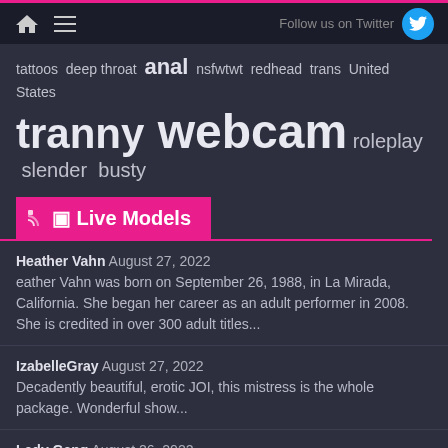Follow us on Twitter
tattoos deep throat anal nsfwtwt redhead trans United States
tranny webcam roleplay slender busty
Live Models
Heather Vahn August 27, 2022 eather Vahn was born on September 26, 1988, in La Mirada, California. She began her career as an adult performer in 2008. She is credited in over 300 adult titles...
IzabelleGray August 27, 2022 Decadently beautiful, erotic JOI, this mistress is the whole package. Wonderful show...
Lady Gang August 26, 2022 Lady Gang was born on August 29, 1995, in the Czech Republic. She began her career as an adult performer in 2017 and